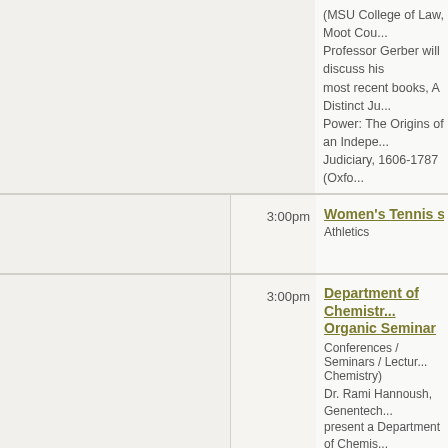(MSU College of Law, Moot Cou... Professor Gerber will discuss his most recent books, A Distinct Ju... Power: The Origins of an Indepe... Judiciary, 1606-1787 (Oxfo...
3:00pm | Women's Tennis s. Mich... | Athletics
3:00pm | Department of Chemistr... Organic Seminar | Conferences / Seminars / Lectur... Chemistry) | Dr. Rami Hannoush, Genentech... present a Department of Chemis... Seminar on Wednesday, Februa... Host - Professor Babak Borhan...
5:00pm | Anesthesiology Interest Group - IV and Lumbar Puncture Lab | Student Events (Learning Asses...